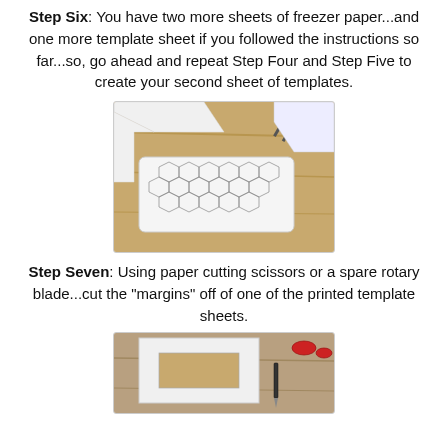Step Six: You have two more sheets of freezer paper...and one more template sheet if you followed the instructions so far...so, go ahead and repeat Step Four and Step Five to create your second sheet of templates.
[Figure (photo): Photo showing hexagon template sheets made from freezer paper laid on a wooden table, with scissors visible in the upper right corner.]
Step Seven: Using paper cutting scissors or a spare rotary blade...cut the "margins" off of one of the printed template sheets.
[Figure (photo): Photo showing a printed template sheet with margins being cut off, with a cutting tool visible on a wooden table surface.]